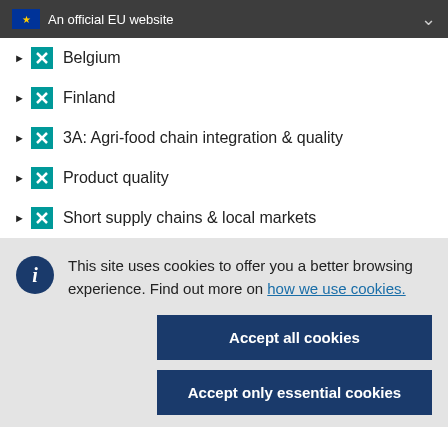An official EU website
Belgium
Finland
3A: Agri-food chain integration & quality
Product quality
Short supply chains & local markets
This site uses cookies to offer you a better browsing experience. Find out more on how we use cookies.
Accept all cookies
Accept only essential cookies